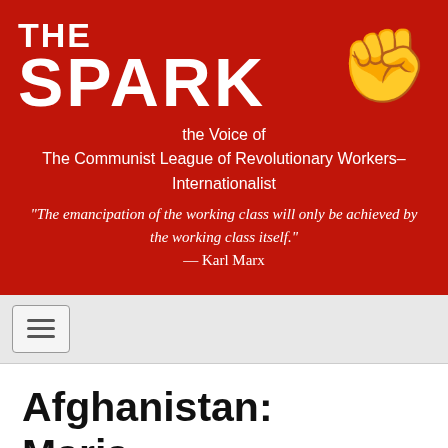THE SPARK — the Voice of The Communist League of Revolutionary Workers–Internationalist
“The emancipation of the working class will only be achieved by the working class itself.” — Karl Marx
Afghanistan: Marja – a Fake Battle and Real